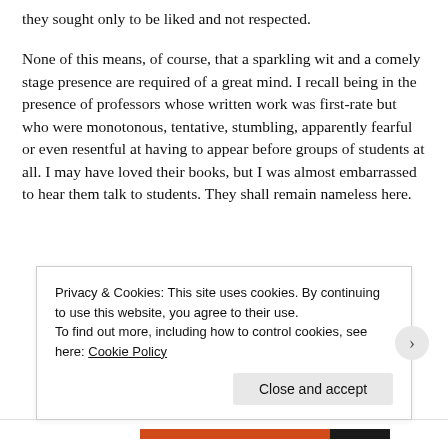they sought only to be liked and not respected.
None of this means, of course, that a sparkling wit and a comely stage presence are required of a great mind. I recall being in the presence of professors whose written work was first-rate but who were monotonous, tentative, stumbling, apparently fearful or even resentful at having to appear before groups of students at all. I may have loved their books, but I was almost embarrassed to hear them talk to students. They shall remain nameless here.
Privacy & Cookies: This site uses cookies. By continuing to use this website, you agree to their use.
To find out more, including how to control cookies, see here: Cookie Policy